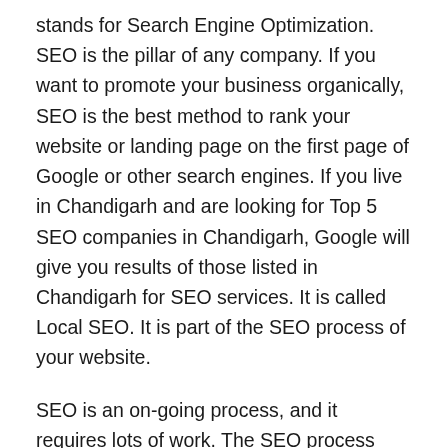stands for Search Engine Optimization. SEO is the pillar of any company. If you want to promote your business organically, SEO is the best method to rank your website or landing page on the first page of Google or other search engines. If you live in Chandigarh and are looking for Top 5 SEO companies in Chandigarh, Google will give you results of those listed in Chandigarh for SEO services. It is called Local SEO. It is part of the SEO process of your website.
SEO is an on-going process, and it requires lots of work. The SEO process includes two parts – On-Page SEO and Off-Page SEO. On-Page SEO involves relevant content on the webpage, proper keyword density, demonstration of images, videos, pie-charts, or tables of content for increasing visitors' engagement, using keywords in alt text tab in pictures or videos. In contrast, Off-Page SEO is a link building process on external websites. Link-Building or Back-linking process is the combination of direct and paid back...